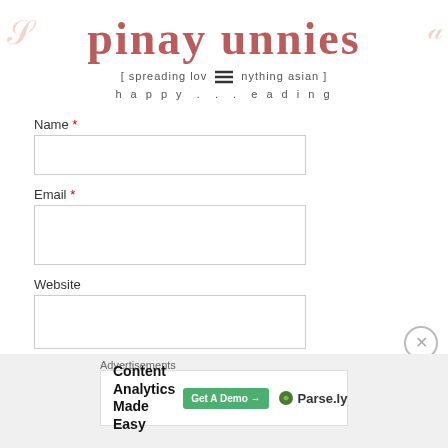[Figure (logo): Pinay Unnies blog logo with decorative swirl elements on left and right, dark rose/mauve colored text reading 'pinay unnies']
[ spreading lov... nything asian ] h a p p y . . . e a d i n g
Name *
Email *
Website
POST COMMENT
Advertisements
[Figure (screenshot): Advertisement banner for Parse.ly: 'Content Analytics Made Easy' with a green 'Get A Demo →' button and Parse.ly logo]